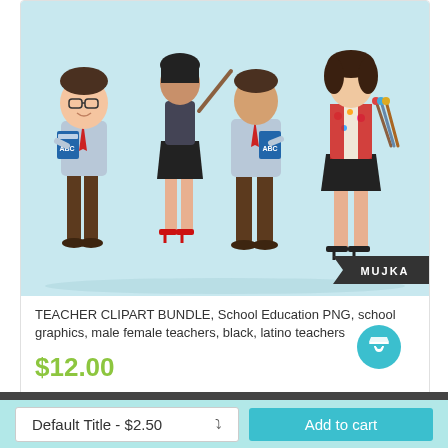[Figure (illustration): Cartoon teacher clipart bundle showing multiple male and female teacher characters with books and teaching supplies on a light blue background, with MUJKA watermark badge in bottom right corner]
TEACHER CLIPART BUNDLE, School Education PNG, school graphics, male female teachers, black, latino teachers
$12.00
[Figure (other): Teal circular shopping cart button icon]
Default Title - $2.50
Add to cart